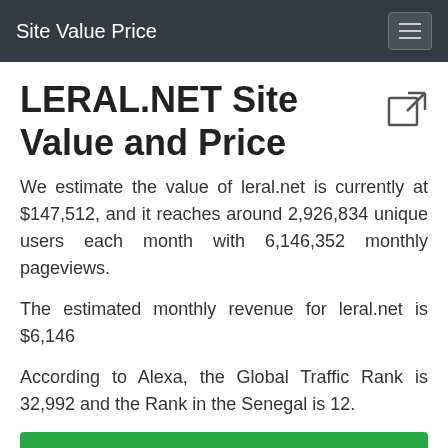Site Value Price
LERAL.NET Site Value and Price
We estimate the value of leral.net is currently at $147,512, and it reaches around 2,926,834 unique users each month with 6,146,352 monthly pageviews.
The estimated monthly revenue for leral.net is $6,146
According to Alexa, the Global Traffic Rank is 32,992 and the Rank in the Senegal is 12.